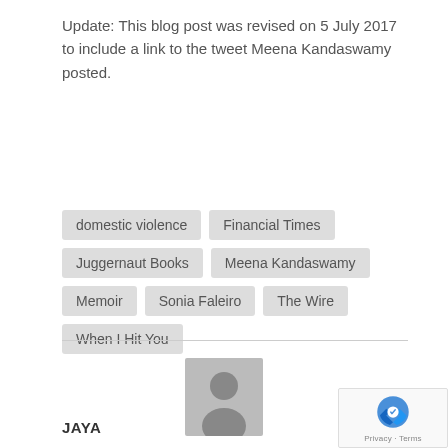Update: This blog post was revised on 5 July 2017 to include a link to the tweet Meena Kandaswamy posted.
domestic violence
Financial Times
Juggernaut Books
Meena Kandaswamy
Memoir
Sonia Faleiro
The Wire
When I Hit You
[Figure (photo): Default user avatar placeholder — grey silhouette of a person on a grey background]
JAYA